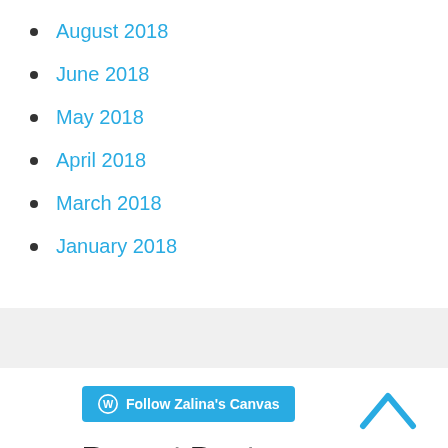August 2018
June 2018
May 2018
April 2018
March 2018
January 2018
Follow Zalina's Canvas
Recent Posts